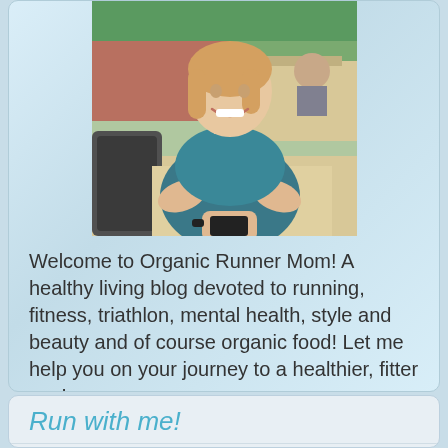[Figure (photo): Woman sitting at outdoor cafe, smiling, wearing blue dress, holding a phone or tablet, with another person visible in background]
Welcome to Organic Runner Mom! A healthy living blog devoted to running, fitness, triathlon, mental health, style and beauty and of course organic food! Let me help you on your journey to a healthier, fitter you!
Run with me!
Facebook
Google+
Twitter
Pinterest
Youtube
Instagram